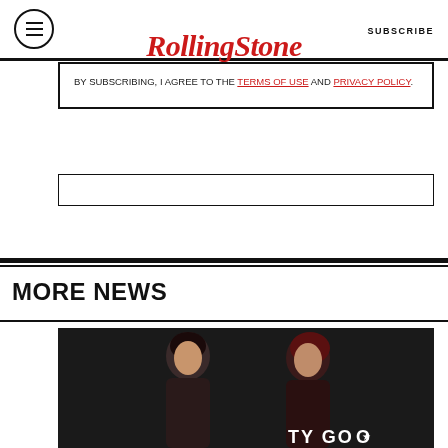Rolling Stone — SUBSCRIBE
BY SUBSCRIBING, I AGREE TO THE TERMS OF USE AND PRIVACY POLICY.
[Figure (other): Empty input/form field box]
MORE NEWS
[Figure (photo): Two women at a red carpet or charity event in front of a backdrop reading TY GOO (partially visible). Dark background.]